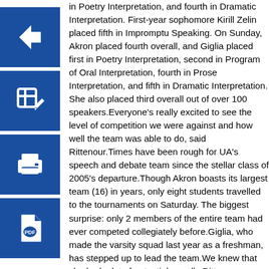[Figure (illustration): Blue square icon with white left-pointing arrow]
[Figure (illustration): Blue square icon with white pencil/edit symbol]
[Figure (illustration): Blue square icon with white printer symbol]
[Figure (illustration): Blue square icon with white PDF document symbol]
in Poetry Interpretation, and fourth in Dramatic Interpretation.  First-year sophomore Kirill Zelin placed fifth in Impromptu Speaking. On Sunday, Akron placed fourth overall, and Giglia placed first in Poetry Interpretation, second in Program of Oral Interpretation, fourth in Prose Interpretation, and fifth in Dramatic Interpretation.  She also placed third overall out of over 100 speakers.Everyone's really excited to see the level of competition we were against and how well the team was able to do, said Rittenour.Times have been rough for UA's speech and debate team since the stellar class of 2005's departure.Though Akron boasts its largest team (16) in years, only eight students travelled to the tournaments on Saturday.  The biggest surprise: only 2 members of the entire team had ever competed collegiately before.Giglia, who made the varsity squad last year as a freshman, has stepped up to lead the team.We knew that she had a lot of potential, recalls Rittenour, so over the summer and in the early fall she had been preparing her events, and obviously her preparation paid off very well.Last year, Giglia earned spots at both national tournaments and placed well in the state tournament.Speech and debate tournaments have three core genres in competition: interpretation of literature, prepared public address and public address with limited preparation.In the past, Akron has been known for its poetry interpretation, but this year's team is much better all-around.This is the most diverse team that we've ever had, contends Rittenour.